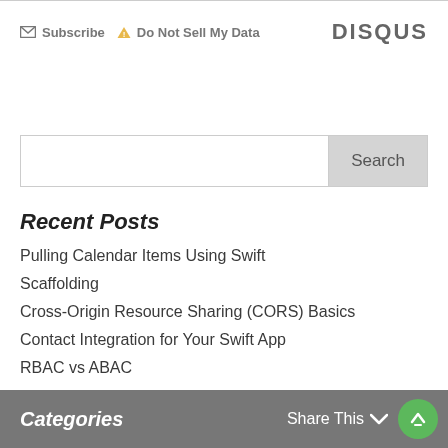Subscribe  Do Not Sell My Data  DISQUS
Search
Recent Posts
Pulling Calendar Items Using Swift
Scaffolding
Cross-Origin Resource Sharing (CORS) Basics
Contact Integration for Your Swift App
RBAC vs ABAC
Categories  Share This